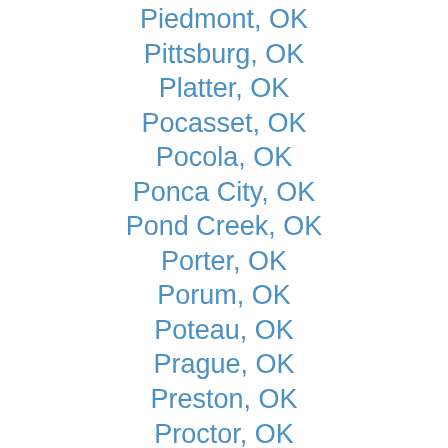Piedmont, OK
Pittsburg, OK
Platter, OK
Pocasset, OK
Pocola, OK
Ponca City, OK
Pond Creek, OK
Porter, OK
Porum, OK
Poteau, OK
Prague, OK
Preston, OK
Proctor, OK
Prue, OK
Pryor, OK
Purcell, OK
Putnam, OK